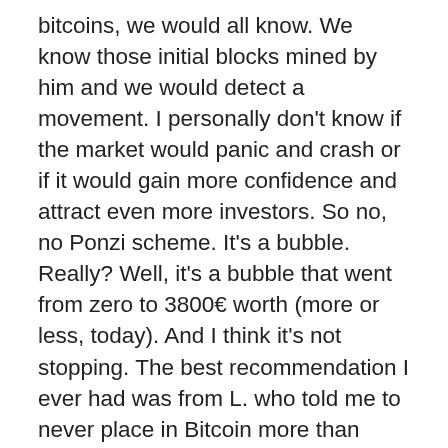bitcoins, we would all know. We know those initial blocks mined by him and we would detect a movement. I personally don't know if the market would panic and crash or if it would gain more confidence and attract even more investors. So no, no Ponzi scheme. It's a bubble. Really? Well, it's a bubble that went from zero to 3800€ worth (more or less, today). And I think it's not stopping. The best recommendation I ever had was from L. who told me to never place in Bitcoin more than what I could afford to lose. It was worth 35€ when he told me this. On the next point, I have to agree. Bitcoin doesn't have any intrinsic value. Nor does a Van Gogh or a Picasso. It's just paint. We, humans, assign a price to these masterpieces. Same we do with Bitcoin. Yes, you can afford it now. Why? Because Bitcoin is a unit but it has 8 zeros after the comma. The smallest unit, in honor of the inventor, is called a satoshi and is a 0.00000001 of